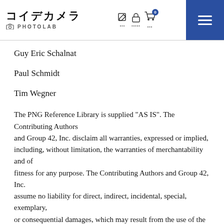[Figure (logo): コイデカメラ PHOTOLAB logo with Japanese text and navigation icons including edit, lock, cart with badge '0', and hamburger menu button]
Guy Eric Schalnat
Paul Schmidt
Tim Wegner
The PNG Reference Library is supplied "AS IS". The Contributing Authors
and Group 42, Inc. disclaim all warranties, expressed or implied,
including, without limitation, the warranties of merchantability and of
fitness for any purpose. The Contributing Authors and Group 42, Inc.
assume no liability for direct, indirect, incidental, special, exemplary,
or consequential damages, which may result from the use of the